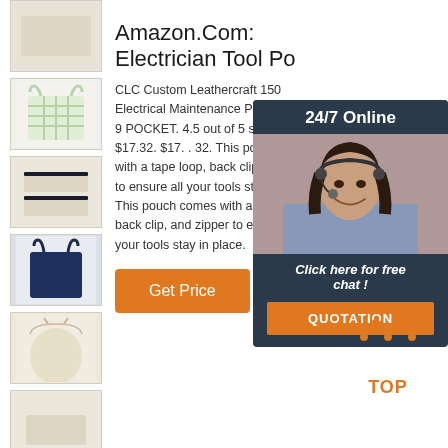[Figure (photo): Thumbnail strip of bag/pouch product images on left side: beige tote, green plaid tote, beige flat pouches, navy tote, cream drawstring bag, partial cream bag]
Amazon.Com: Electrician Tool Po
CLC Custom Leathercraft 150 Electrical Maintenance Pouch 9 POCKET. 4.5 out of 5 stars $17.32. $17. . 32. This pouch with a tape loop, back clip, and to ensure all your tools stay in. This pouch comes with a tape back clip, and zipper to ensure your tools stay in place.
[Figure (photo): 24/7 Online chat widget with photo of female customer service representative wearing headset, dark navy background, orange QUOTATION button]
[Figure (other): Orange TOP button with dot pattern triangle above text]
Get Price